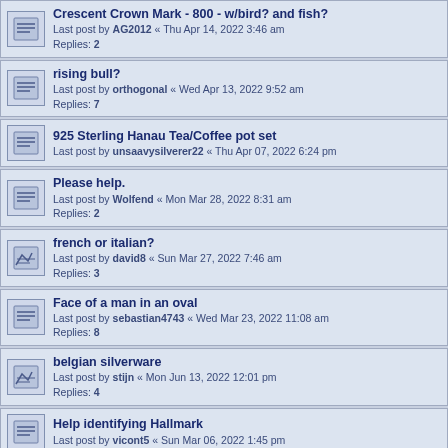Crescent Crown Mark - 800 - w/bird? and fish?
Last post by AG2012 « Thu Apr 14, 2022 3:46 am
Replies: 2
rising bull?
Last post by orthogonal « Wed Apr 13, 2022 9:52 am
Replies: 7
925 Sterling Hanau Tea/Coffee pot set
Last post by unsaavysilverer22 « Thu Apr 07, 2022 6:24 pm
Please help.
Last post by Wolfend « Mon Mar 28, 2022 8:31 am
Replies: 2
french or italian?
Last post by david8 « Sun Mar 27, 2022 7:46 am
Replies: 3
Face of a man in an oval
Last post by sebastian4743 « Wed Mar 23, 2022 11:08 am
Replies: 8
belgian silverware
Last post by stijn « Mon Jun 13, 2022 12:01 pm
Replies: 4
Help identifying Hallmark
Last post by vicont5 « Sun Mar 06, 2022 1:45 pm
Identification 13loth
Last post by madej « Sun Mar 06, 2022 7:44 am
attribution
Last post by ALEKS « Thu Feb 24, 2022 2:11 am
Replies: 2
Breslau silver plate.